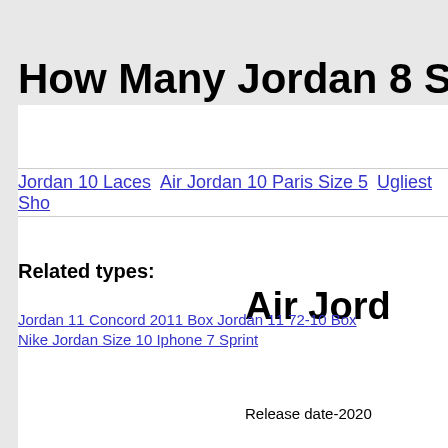How Many Jordan 8 South Bea
Jordan 10 Laces   Air Jordan 10 Paris Size 5   Ugliest Sho
Related types:
Air Jord
Jordan 11 Concord 2011 Box Jordan 11 72-10 Box
Nike Jordan Size 10 Iphone 7 Sprint
Release date-2020